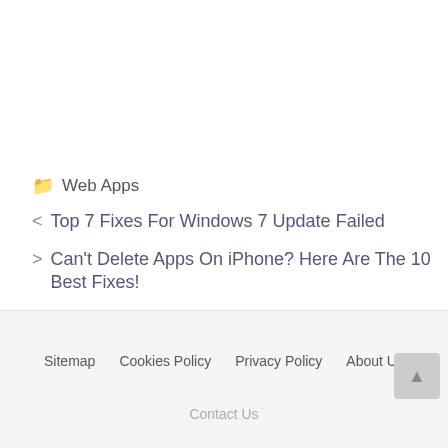📁 Web Apps
< Top 7 Fixes For Windows 7 Update Failed
> Can't Delete Apps On iPhone? Here Are The 10 Best Fixes!
Sitemap   Cookies Policy   Privacy Policy   About Us   Contact Us